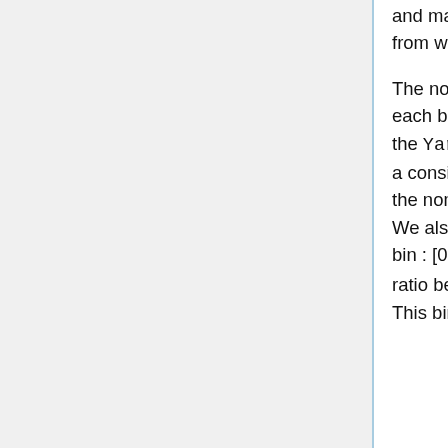and masking the galactic plane with several mask width, the sky fraction from which spectra are computed are around 30%, 60% and 80%.
The nominal mission data and the Y3.0 realisations are binned. For each bin we compute the statistical parameters (mean and variance) of the Yardstick distribution. The following figure is a typical example of a consistency test, it shows the differences between the Y3.0 mean and the nominal mission, considering the standard deviation of the yardstick. We also indicate chi square values, which are computed within larger bin : [0,20], [20,400], [400,1000] [1000,2000], [2000, 3000], using the ratio between (Nominal-Y3.0 mean)² and Y3.0 variance within each bin. This binned chi-square is only indicative: it